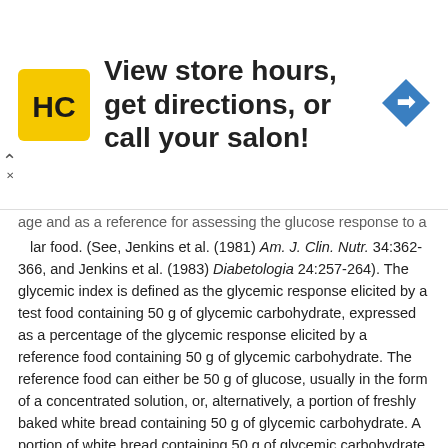[Figure (other): Advertisement banner: HC salon logo on yellow background, text 'View store hours, get directions, or call your salon!', blue diamond navigation icon on right, close/collapse chevron on left]
age and as a reference for assessing the glucose response to a particular food. (See, Jenkins et al. (1981) Am. J. Clin. Nutr. 34:362-366, and Jenkins et al. (1983) Diabetologia 24:257-264). The glycemic index is defined as the glycemic response elicited by a test food containing 50 g of glycemic carbohydrate, expressed as a percentage of the glycemic response elicited by a reference food containing 50 g of glycemic carbohydrate. The reference food can either be 50 g of glucose, usually in the form of a concentrated solution, or, alternatively, a portion of freshly baked white bread containing 50 g of glycemic carbohydrate. A portion of white bread containing 50 g of glycemic carbohydrate raises blood glucose levels 71 percent as much as 50 g of glucose. Nevertheless, if either 50 g of glucose or a portion of white bread containing 50 g of glycemic carbohydrate is used as the reference food, each is defined as having a glycemic index of 100.
The glycemic index may be determined as described in Wolever et al. (1985) Diabetes Care 8:418-428, Wolever et al., Journal of the American College of Nutrition 8(3):235-247 (1989), Wolever et al. (1991) Am. J. Clin. Nutr. 54:846-854, and Wolever et al. (1994) Am. J. Clin. Nutr. 59:1265-